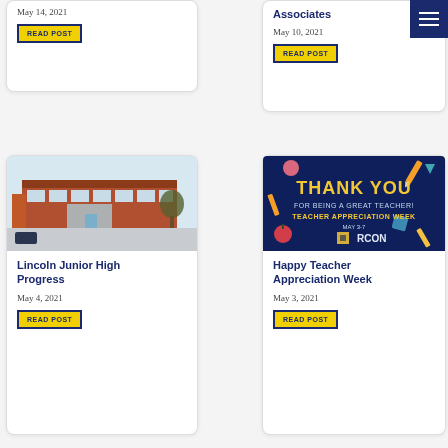May 14, 2021
READ POST
Associates
May 10, 2021
READ POST
[Figure (photo): Exterior of Lincoln Junior High school building in winter, brick facade with parking lot]
Lincoln Junior High Progress
May 4, 2021
READ POST
[Figure (illustration): Dark navy blue promotional graphic with colorful school supplies. Text reads: THANK YOU FOR BEING A GREAT TEACHER! TEACHER APPRECIATION WEEK MAY 3-7 ARCON]
Happy Teacher Appreciation Week
May 3, 2021
READ POST